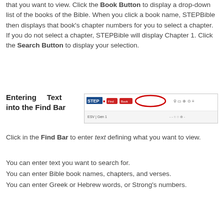that you want to view.  Click the Book Button to display a drop-down list of the books of the Bible. When you click a book name, STEPBible then displays that book's chapter numbers for you to select a chapter.  If you do not select a chapter, STEPBible will display Chapter 1.  Click the Search Button to display your selection.
Entering Text into the Find Bar
[Figure (screenshot): Screenshot of STEP Bible toolbar showing the Find Bar with a red oval highlight around a search input area]
Click in the Find Bar to enter text defining what you want to view.
You can enter text you want to search for.
You can enter Bible book names, chapters, and verses.
You can enter Greek or Hebrew words, or Strong's numbers.